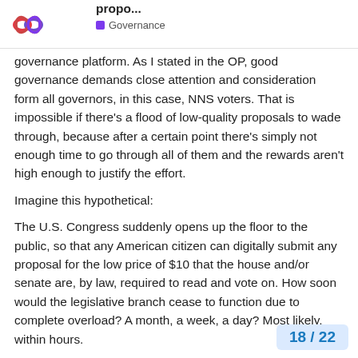Simple idea to prevent spam and increase propo... | Governance
governance platform. As I stated in the OP, good governance demands close attention and consideration form all governors, in this case, NNS voters. That is impossible if there's a flood of low-quality proposals to wade through, because after a certain point there's simply not enough time to go through all of them and the rewards aren't high enough to justify the effort.

Imagine this hypothetical:

The U.S. Congress suddenly opens up the floor to the public, so that any American citizen can digitally submit any proposal for the low price of $10 that the house and/or senate are, by law, required to read and vote on. How soon would the legislative branch cease to function due to complete overload? A month, a week, a day? Most likely, within hours.

The NNS is the legislature of the Internet Computer. Do you see the parallel? The system will grind to a halt and cannot function properly if something is not done t... in...ing the cost of low quality...
18 / 22